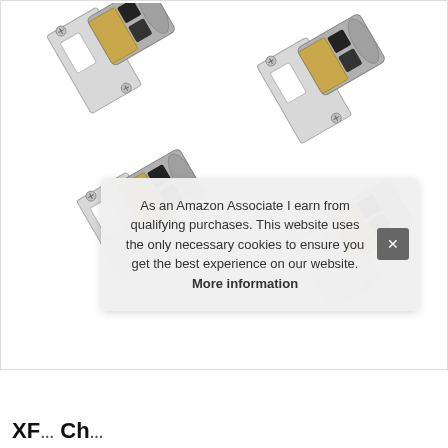[Figure (photo): Four door latch bolts (tubular latches) with nickel/chrome finish, shown in pairs at angles — two on top and two on bottom. Each latch has a chrome strike plate with rectangular cutout and screws, and a cylindrical bolt mechanism with brass/gold colored latch bolt.]
As an Amazon Associate I earn from qualifying purchases. This website uses the only necessary cookies to ensure you get the best experience on our website. More information
XF... Ch...